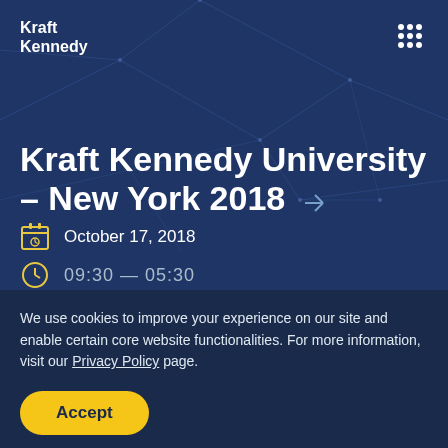Kraft Kennedy
Kraft Kennedy University – New York 2018
October 17, 2018
We use cookies to improve your experience on our site and enable certain core website functionalities. For more information, visit our Privacy Policy page.
Accept